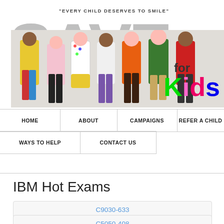[Figure (screenshot): Website header with children photo, large SAVE text in gray, tagline 'EVERY CHILD DESERVES TO SMILE', 'for Kids' text in colorful handwritten style]
HOME
ABOUT
CAMPAIGNS
REFER A CHILD
WAYS TO HELP
CONTACT US
IBM Hot Exams
C9030-633
C5050-408